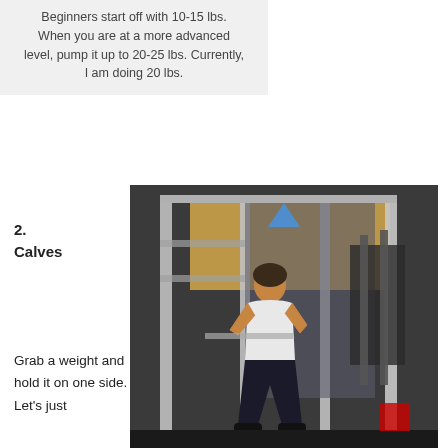Beginners start off with 10-15 lbs. When you are at a more advanced level, pump it up to 20-25 lbs. Currently, I am doing 20 lbs.
2. Calves
[Figure (photo): Woman performing a squat exercise in a gym with rack equipment and mirrors in the background.]
Grab a weight and hold it on one side. Let's just
Whether you're a beginner or not, you should be doing 3 sets of 8 with these. No more or no less.